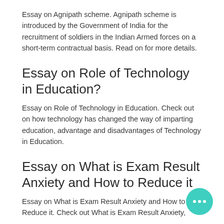Essay on Agnipath scheme. Agnipath scheme is introduced by the Government of India for the recruitment of soldiers in the Indian Armed forces on a short-term contractual basis. Read on for more details.
Essay on Role of Technology in Education?
Essay on Role of Technology in Education. Check out on how technology has changed the way of imparting education, advantage and disadvantages of Technology in Education.
Essay on What is Exam Result Anxiety and How to Reduce it
Essay on What is Exam Result Anxiety and How to Reduce it. Check out What is Exam Result Anxiety,